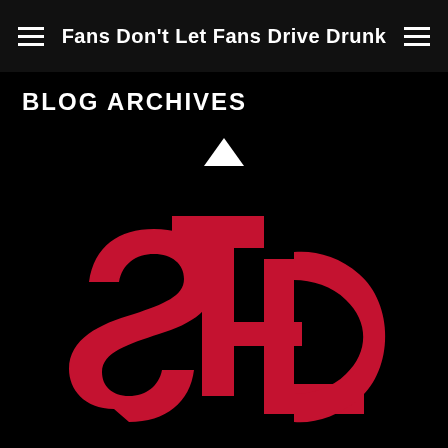Fans Don't Let Fans Drive Drunk
BLOG ARCHIVES
[Figure (logo): St. Louis Cardinals-style interlocking STL letters logo in red on black background, with a white upward-pointing triangle above it]